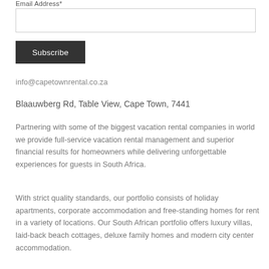Email Address*
Subscribe
info@capetownrental.co.za
Blaauwberg Rd, Table View, Cape Town, 7441
Partnering with some of the biggest vacation rental companies in world we provide full-service vacation rental management and superior financial results for homeowners while delivering unforgettable experiences for guests in South Africa.
With strict quality standards, our portfolio consists of holiday apartments, corporate accommodation and free-standing homes for rent in a variety of locations. Our South African portfolio offers luxury villas, laid-back beach cottages, deluxe family homes and modern city center accommodation.